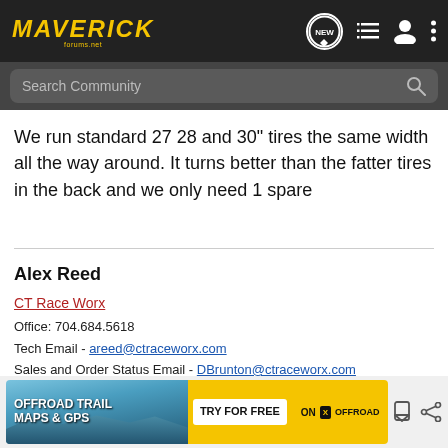MAVERICK forums | NEW | menu | user | more
We run standard 27 28 and 30" tires the same width all the way around. It turns better than the fatter tires in the back and we only need 1 spare
Alex Reed
CT Race Worx
Office: 704.684.5618
Tech Email - areed@ctraceworx.com
Sales and Order Status Email - DBrunton@ctraceworx.com
Builder and supplier of UTV parts for weekend riders to fully built race machines
Race Proven, Hand Built, American Made
[Figure (screenshot): Advertisement banner for ON X OFFROAD app - Offroad Trail Maps & GPS, Try For Free]